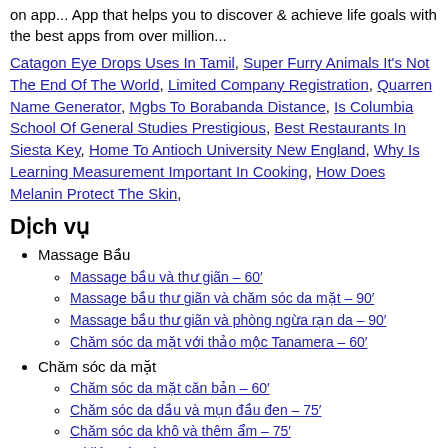on app... App that helps you to discover & achieve life goals with the best apps from over million...
Catagon Eye Drops Uses In Tamil, Super Furry Animals It's Not The End Of The World, Limited Company Registration, Quarren Name Generator, Mgbs To Borabanda Distance, Is Columbia School Of General Studies Prestigious, Best Restaurants In Siesta Key, Home To Antioch University New England, Why Is Learning Measurement Important In Cooking, How Does Melanin Protect The Skin,
Dịch vụ
Massage Bầu
Massage bầu và thư giãn – 60′
Massage bầu thư giãn và chăm sóc da mặt – 90′
Massage bầu thư giãn và phòng ngừa rạn da – 90′
Chăm sóc da mặt với thảo mộc Tanamera – 60′
Chăm sóc da mặt
Chăm sóc da mặt căn bản – 60′
Chăm sóc da dầu và mụn đầu đen – 75′
Chăm sóc da khô và thêm ẩm – 75′
Trị liệu nám da – 120′
Trị liệu da lão hóa – 120′
Trị liệu trẻ hóa da vùng mắt – 60′